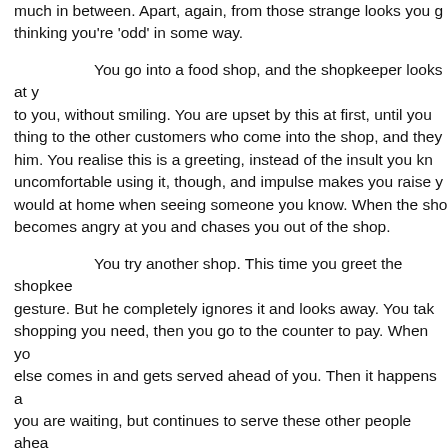much in between.  Apart, again, from those strange looks you get thinking you're 'odd' in some way.
You go into a food shop, and the shopkeeper looks at you, without smiling.  You are upset by this at first, until you thing to the other customers who come into the shop, and they him.  You realise this is a greeting, instead of the insult you kn uncomfortable using it, though, and impulse makes you raise y would at home when seeing someone you know.  When the sho becomes angry at you and chases you out of the shop.
You try another shop.  This time you greet the shopkee gesture.  But he completely ignores it and looks away.  You tak shopping you need, then you go to the counter to pay.  When yo else comes in and gets served ahead of you.  Then it happens a you are waiting, but continues to serve these other people ahea you are in a Wetherspoon's at home!  After a while, you notice t greeting the shopkeeper with the middle finger gesture and he i yourself again - but again, he doesn't return it to you.  Eventuall the shop, you get served.  Then, just as you are about to leave, the counter, puts his face right up close to yours, puts his hand